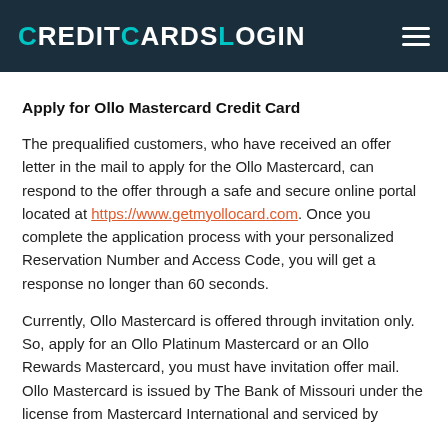CreditCardsLogin
Apply for Ollo Mastercard Credit Card
The prequalified customers, who have received an offer letter in the mail to apply for the Ollo Mastercard, can respond to the offer through a safe and secure online portal located at https://www.getmyollocard.com. Once you complete the application process with your personalized Reservation Number and Access Code, you will get a response no longer than 60 seconds.
Currently, Ollo Mastercard is offered through invitation only. So, apply for an Ollo Platinum Mastercard or an Ollo Rewards Mastercard, you must have invitation offer mail. Ollo Mastercard is issued by The Bank of Missouri under the license from Mastercard International and serviced by